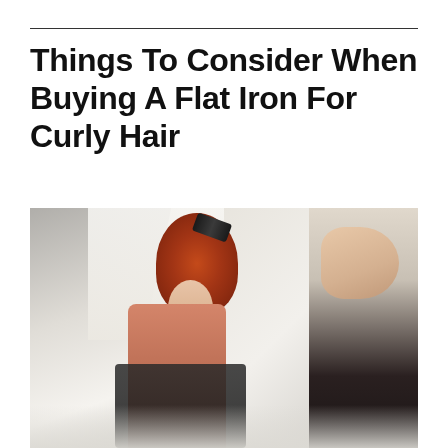Things To Consider When Buying A Flat Iron For Curly Hair
[Figure (photo): A woman with red curly hair sitting in a salon chair wearing a salmon/coral ribbed top, while a stylist uses a flat iron on her hair. The salon has mirrors and bright lighting.]